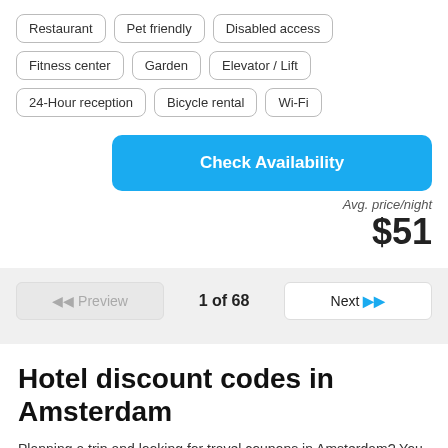Restaurant
Pet friendly
Disabled access
Fitness center
Garden
Elevator / Lift
24-Hour reception
Bicycle rental
Wi-Fi
Check Availability
Avg. price/night
$51
1 of 68
Hotel discount codes in Amsterdam
Planning a trip and looking for travel coupons in Amsterdam? You are in a good place! Be excited about your trip to